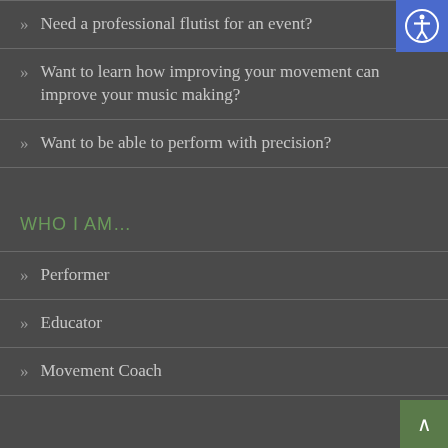Need a professional flutist for an event?
Want to learn how improving your movement can improve your music making?
Want to be able to perform with precision?
WHO I AM…
Performer
Educator
Movement Coach